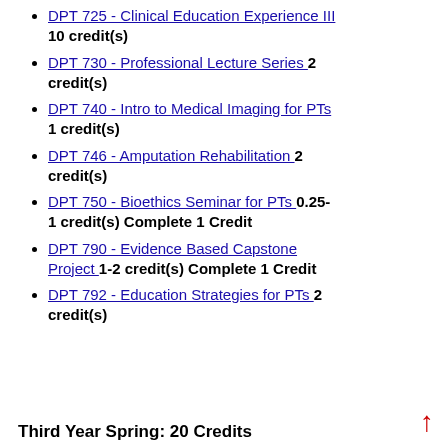DPT 725 - Clinical Education Experience III 10 credit(s)
DPT 730 - Professional Lecture Series 2 credit(s)
DPT 740 - Intro to Medical Imaging for PTs 1 credit(s)
DPT 746 - Amputation Rehabilitation 2 credit(s)
DPT 750 - Bioethics Seminar for PTs 0.25-1 credit(s) Complete 1 Credit
DPT 790 - Evidence Based Capstone Project 1-2 credit(s) Complete 1 Credit
DPT 792 - Education Strategies for PTs 2 credit(s)
Third Year Spring: 20 Credits